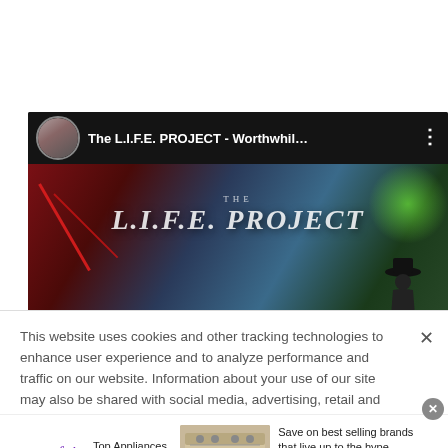[Figure (screenshot): YouTube video player showing 'The L.I.F.E. PROJECT - Worthwhil...' with a stage background showing 'L.I.F.E. PROJECT' text illuminated with red laser beams and green stage lights, with a silhouetted figure on the right]
This website uses cookies and other tracking technologies to enhance user experience and to analyze performance and traffic on our website. Information about your use of our site may also be shared with social media, advertising, retail and analytics providers and partners.  Privacy Policy
[Figure (screenshot): Wayfair advertisement banner: 'Top Appliances Low Prices' with image of a stove/range appliance, 'Save on best selling brands that live up to the hype' with a purple 'Shop now' button]